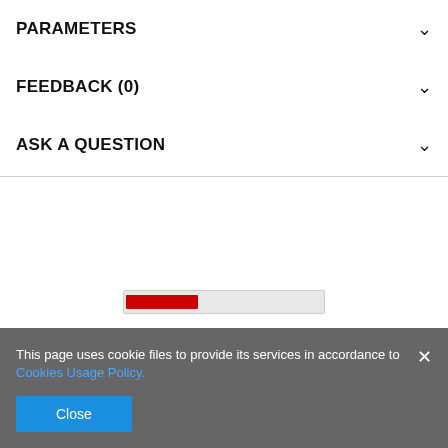PARAMETERS
FEEDBACK (0)
ASK A QUESTION
[Figure (other): A progress bar with a red filled portion on left and gray empty portion on right]
This page uses cookie files to provide its services in accordance to Cookies Usage Policy.
Close